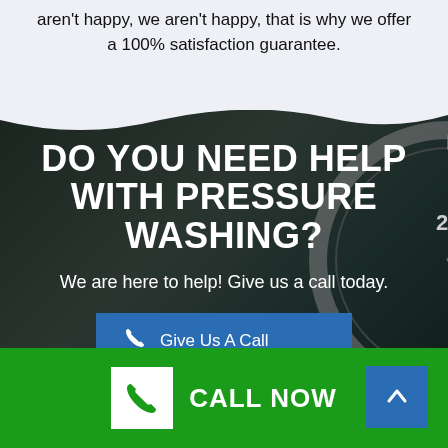aren't happy, we aren't happy, that is why we offer a 100% satisfaction guarantee.
DO YOU NEED HELP WITH PRESSURE WASHING?
We are here to help! Give us a call today.
[Figure (screenshot): Blue button with phone icon and text 'Give Us A Call']
[Figure (screenshot): Green bottom bar with white phone icon box, CALL NOW text, and blue up arrow button]